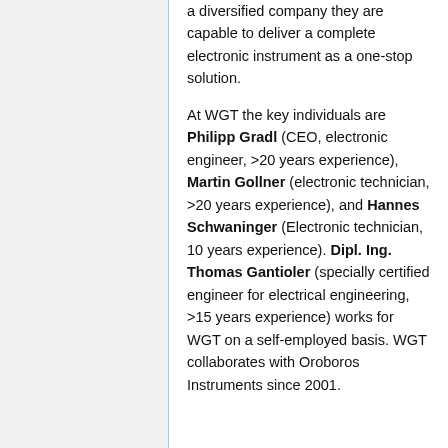a diversified company they are capable to deliver a complete electronic instrument as a one-stop solution.
At WGT the key individuals are Philipp Gradl (CEO, electronic engineer, >20 years experience), Martin Gollner (electronic technician, >20 years experience), and Hannes Schwaninger (Electronic technician, 10 years experience). Dipl. Ing. Thomas Gantioler (specially certified engineer for electrical engineering, >15 years experience) works for WGT on a self-employed basis. WGT collaborates with Oroboros Instruments since 2001.